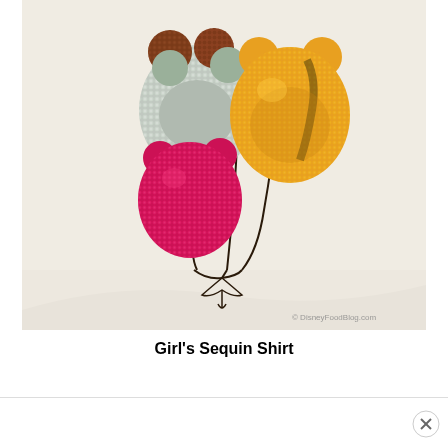[Figure (photo): Close-up photo of a white girl's shirt decorated with sequin Mickey Mouse balloon appliques. Three balloons are shown: one dark/iridescent silver with brown accents, one magenta/pink sequin, and one yellow/gold sequin, each shaped like Mickey Mouse head with ears. Dark string lines connect the balloons to a tied bow at the bottom. Watermark reads 'DisneyFoodBlog.com' in bottom right corner.]
Girl's Sequin Shirt